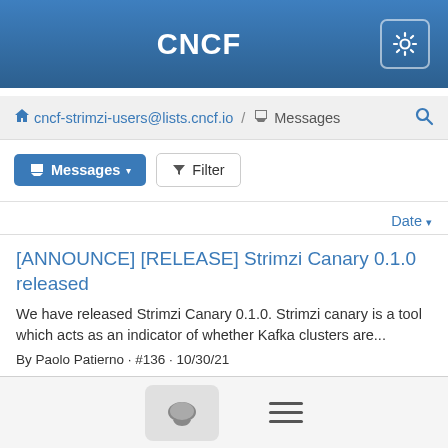CNCF
cncf-strimzi-users@lists.cncf.io / Messages
Messages ▾   Filter
Date ▾
[ANNOUNCE] [RELEASE] Strimzi Canary 0.1.0 released
We have released Strimzi Canary 0.1.0. Strimzi canary is a tool which acts as an indicator of whether Kafka clusters are...
By Paolo Patierno · #136 · 10/30/21
RC1 of Strimzi Canary 0.1.0
*We have prepared the RC1 of the first release (0.1.0) of Strimzi